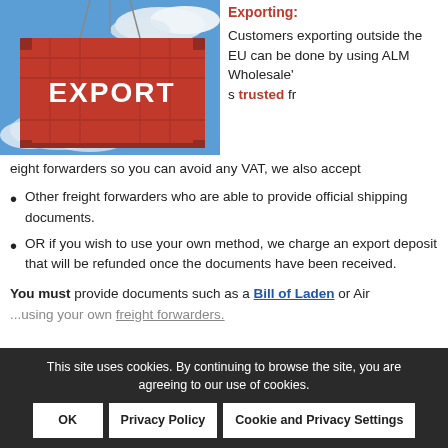[Figure (photo): Red shipping container with the word EXPORT written in large white letters, suspended by crane cables against a blue sky with clouds.]
Exporting: Customers exporting outside the EU can be done by using ALM Wholesale's trusted freight forwarders so you can avoid any VAT, we also accept
Other freight forwarders who are able to provide official shipping documents.
OR if you wish to use your own method, we charge an export deposit that will be refunded once the documents have been received.
You must provide documents such as a Bill of Laden or Air ... using your own freight forwarders.
This site uses cookies. By continuing to browse the site, you are agreeing to our use of cookies.